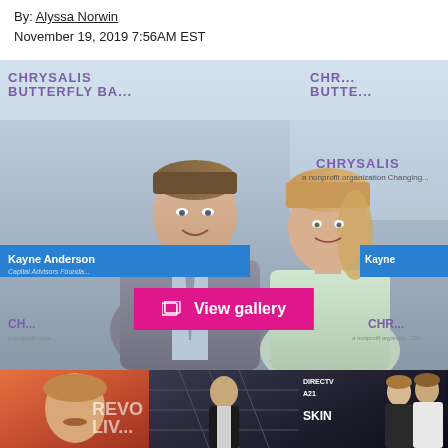By: Alyssa Norwin
November 19, 2019 7:56AM EST
[Figure (photo): James Van Der Beek and wife Kimberly at Chrysalis Butterfly Ball event, with Kayne Anderson Capital Advisors Foundation banner visible]
[Figure (photo): View gallery button overlay on main photo]
[Figure (photo): Thumbnail strip: three small photos at bottom - man with mustache on orange background, man in black suit on geometric background, couple on red carpet at SKIN/DIRECTV event]